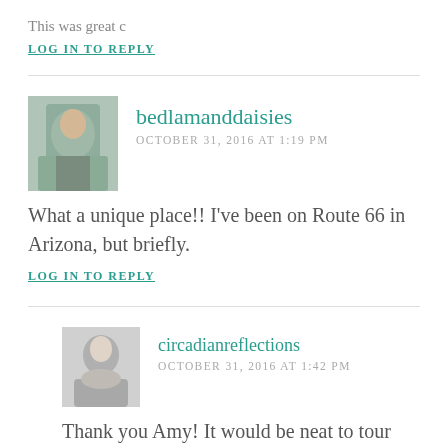This was great c
LOG IN TO REPLY
bedlamanddaisies
OCTOBER 31, 2016 AT 1:19 PM
What a unique place!! I've been on Route 66 in Arizona, but briefly.
LOG IN TO REPLY
circadianreflections
OCTOBER 31, 2016 AT 1:42 PM
Thank you Amy! It would be neat to tour